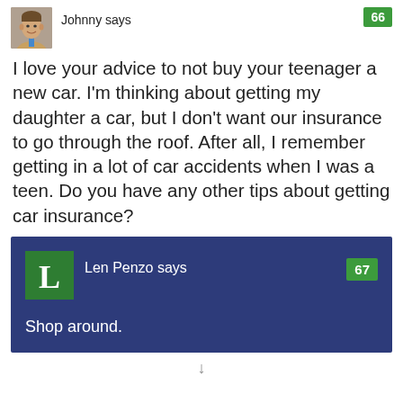[Figure (photo): Avatar photo of Johnny, a man in a suit]
Johnny says
66
I love your advice to not buy your teenager a new car. I'm thinking about getting my daughter a car, but I don't want our insurance to go through the roof. After all, I remember getting in a lot of car accidents when I was a teen. Do you have any other tips about getting car insurance?
[Figure (logo): Green square with white letter L, avatar for Len Penzo]
Len Penzo says
67
Shop around.